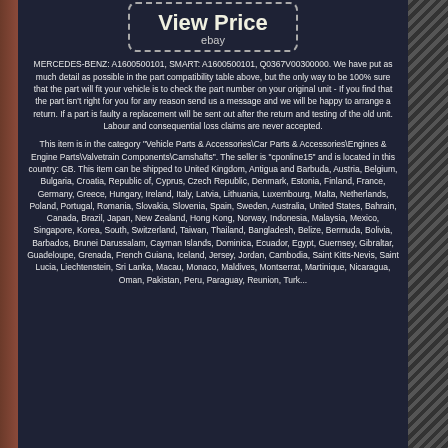[Figure (screenshot): eBay listing page screenshot showing a 'View Price' button with dashed border and ebay label below it, on a dark navy background]
MERCEDES-BENZ: A1600500101, SMART: A1600500101, Q0367V00300000. We have put as much detail as possible in the part compatibility table above, but the only way to be 100% sure that the part will fit your vehicle is to check the part number on your original unit - If you find that the part isn't right for you for any reason send us a message and we will be happy to arrange a return. If a part is faulty a replacement will be sent out after the return and testing of the old unit. Labour and consequential loss claims are never accepted.
This item is in the category "Vehicle Parts & Accessories\Car Parts & Accessories\Engines & Engine Parts\Valvetrain Components\Camshafts". The seller is "cponline15" and is located in this country: GB. This item can be shipped to United Kingdom, Antigua and Barbuda, Austria, Belgium, Bulgaria, Croatia, Republic of, Cyprus, Czech Republic, Denmark, Estonia, Finland, France, Germany, Greece, Hungary, Ireland, Italy, Latvia, Lithuania, Luxembourg, Malta, Netherlands, Poland, Portugal, Romania, Slovakia, Slovenia, Spain, Sweden, Australia, United States, Bahrain, Canada, Brazil, Japan, New Zealand, Hong Kong, Norway, Indonesia, Malaysia, Mexico, Singapore, Korea, South, Switzerland, Taiwan, Thailand, Bangladesh, Belize, Bermuda, Bolivia, Barbados, Brunei Darussalam, Cayman Islands, Dominica, Ecuador, Egypt, Guernsey, Gibraltar, Guadeloupe, Grenada, French Guiana, Iceland, Jersey, Jordan, Cambodia, Saint Kitts-Nevis, Saint Lucia, Liechtenstein, Sri Lanka, Macau, Monaco, Maldives, Montserrat, Martinique, Nicaragua, Oman, Pakistan, Peru, Paraguay, Reunion, Turk...